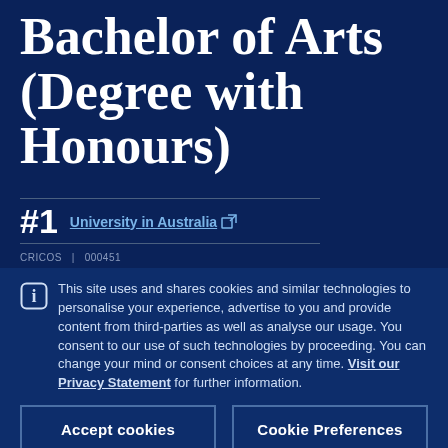Bachelor of Arts (Degree with Honours)
#1 University in Australia
CRICOS ... 000151 ...
This site uses and shares cookies and similar technologies to personalise your experience, advertise to you and provide content from third-parties as well as analyse our usage. You consent to our use of such technologies by proceeding. You can change your mind or consent choices at any time. Visit our Privacy Statement for further information.
Accept cookies
Cookie Preferences